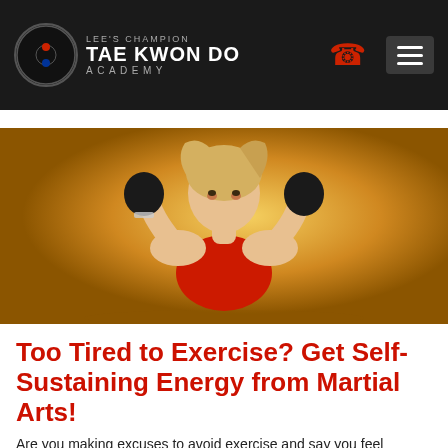LEE'S CHAMPION TAE KWON DO ACADEMY
[Figure (photo): A blonde female martial artist in a red sports bra and black boxing gloves in a fighting stance against a golden/yellow background]
Too Tired to Exercise? Get Self-Sustaining Energy from Martial Arts!
Are you making excuses to avoid exercise and say you feel